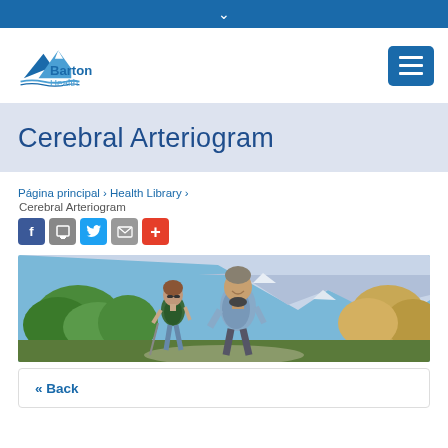Barton Health — navigation header
Cerebral Arteriogram
Página principal › Health Library › Cerebral Arteriogram
[Figure (photo): Two older adults (a woman and a man) hiking outdoors with mountains and foliage in background]
« Back